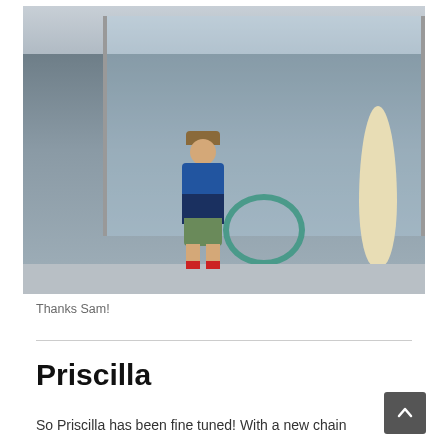[Figure (photo): A man in a blue and navy jacket, green shorts, red socks and black shoes stands in front of a bike/surf shop storefront giving a thumbs up. A surfboard is visible in the shop window along with bicycles.]
Thanks Sam!
Priscilla
So Priscilla has been fine tuned! With a new chain